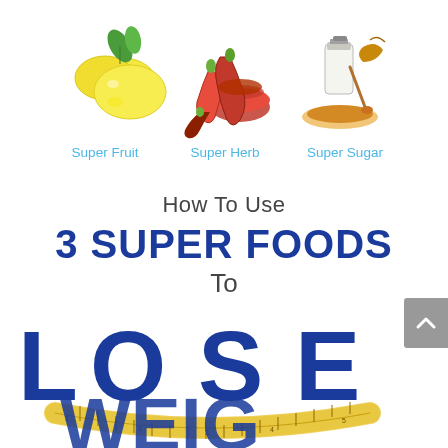[Figure (illustration): Three food images in a row: lemons with leaves (Super Fruit), red chili peppers with spice powder (Super Herb), and maple syrup/honey jar with leaf (Super Sugar)]
Super Fruit    Super Herb    Super Sugar
How To Use
3 SUPER FOODS
To
LOSE
[Figure (illustration): Large bold blue text 'LOSE' with a measuring tape wrapped around the bottom, and partially visible text below]